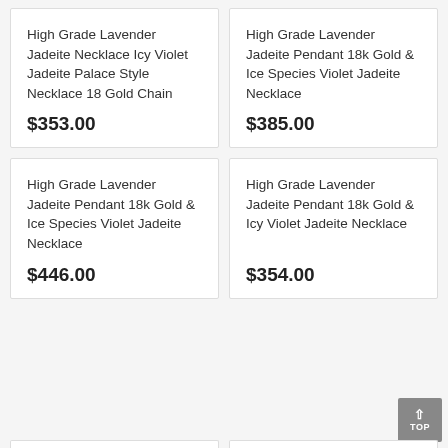High Grade Lavender Jadeite Necklace Icy Violet Jadeite Palace Style Necklace 18 Gold Chain
$353.00
High Grade Lavender Jadeite Pendant 18k Gold & Ice Species Violet Jadeite Necklace
$385.00
High Grade Lavender Jadeite Pendant 18k Gold & Ice Species Violet Jadeite Necklace
$446.00
High Grade Lavender Jadeite Pendant 18k Gold & Icy Violet Jadeite Necklace
$354.00